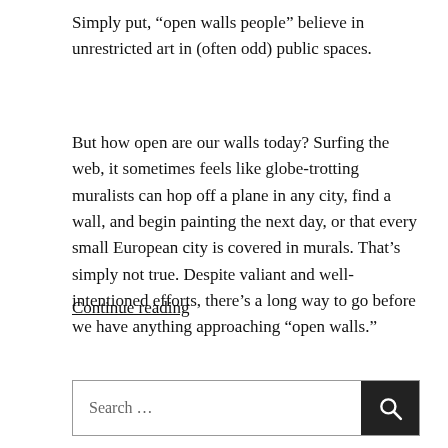Simply put, “open walls people” believe in unrestricted art in (often odd) public spaces.
But how open are our walls today? Surfing the web, it sometimes feels like globe-trotting muralists can hop off a plane in any city, find a wall, and begin painting the next day, or that every small European city is covered in murals. That’s simply not true. Despite valiant and well-intentioned efforts, there’s a long way to go before we have anything approaching “open walls.”
Continue reading
Search …